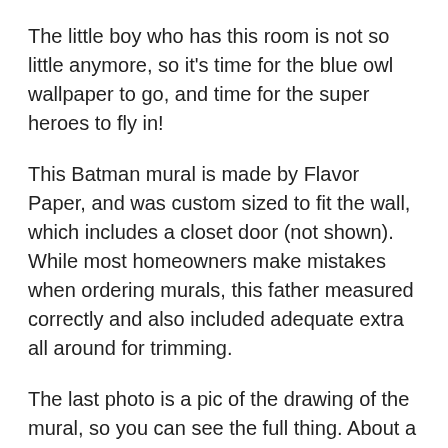The little boy who has this room is not so little anymore, so it's time for the blue owl wallpaper to go, and time for the super heroes to fly in!
This Batman mural is made by Flavor Paper, and was custom sized to fit the wall, which includes a closet door (not shown). While most homeowners make mistakes when ordering murals, this father measured correctly and also included adequate extra all around for trimming.
The last photo is a pic of the drawing of the mural, so you can see the full thing. About a third of the mural on the right was lost, due to the closet door. Batman is all there, though!
The house is in the West University area of Houston.